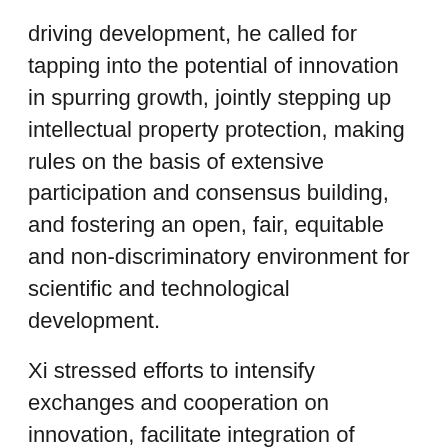driving development, he called for tapping into the potential of innovation in spurring growth, jointly stepping up intellectual property protection, making rules on the basis of extensive participation and consensus building, and fostering an open, fair, equitable and non-discriminatory environment for scientific and technological development.
Xi stressed efforts to intensify exchanges and cooperation on innovation, facilitate integration of science and technology with economic growth, increase the sharing of innovation results, and remove all barriers that hamper the flow of knowledge, technology, talent and other factors of innovation.
Talking about improving on global governance, he urged and helping to multilateralism and business and global...